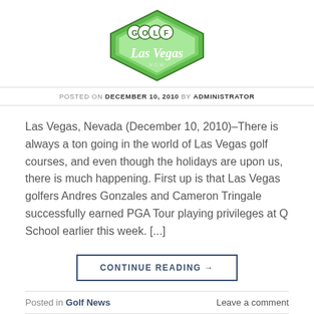[Figure (logo): Golf Las Vegas Now logo — green diamond shield shape with 'GOLF' text in circles and 'Las Vegas' in script below]
POSTED ON DECEMBER 10, 2010 BY ADMINISTRATOR
Las Vegas, Nevada (December 10, 2010)–There is always a ton going in the world of Las Vegas golf courses, and even though the holidays are upon us, there is much happening. First up is that Las Vegas golfers Andres Gonzales and Cameron Tringale successfully earned PGA Tour playing privileges at Q School earlier this week. [...]
CONTINUE READING →
Posted in Golf News
Leave a comment
LAS VEGAS GOLF PACKAGES